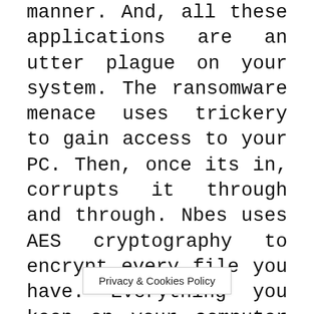manner. And, all these applications are an utter plague on your system. The ransomware menace uses trickery to gain access to your PC. Then, once its in, corrupts it through and through. Nbes uses AES cryptography to encrypt every file you have. Everything you keep on your computer gets locked. Documents, pictures, music, videos. Nothing escapes the infection's reach. The tool attaches a special ".Nbes"extension at the end of each of your files. And, once it's in place, that's it. Your files get rendered useless. You cannot open them, and any action in attempt to salvage them is pointless. The only option for release, the ransomware leaves you, is payment. It states so in the ransom note it leaves you. It's a READ M... every affected
Privacy & Cookies Policy